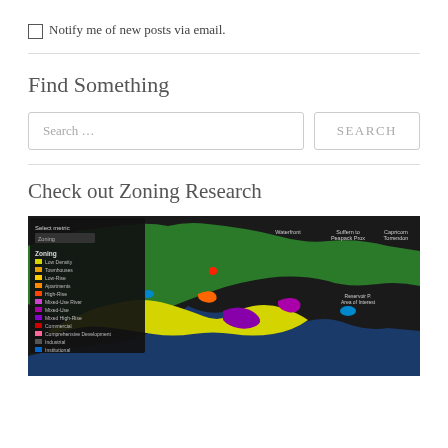Notify me of new posts via email.
Find Something
Search …
Check out Zoning Research
[Figure (map): Zoning map of a city showing color-coded zoning categories including Low Density, Townhouses, Low-Rise, Apartments, High-Rise, Mixed-Use River, Mixed-Use, Mixed High-Rise, Commercial, Comprehensive Development, Industrial, Institutional, Recreational/Civic, and Recreational, overlaid on a dark background map.]